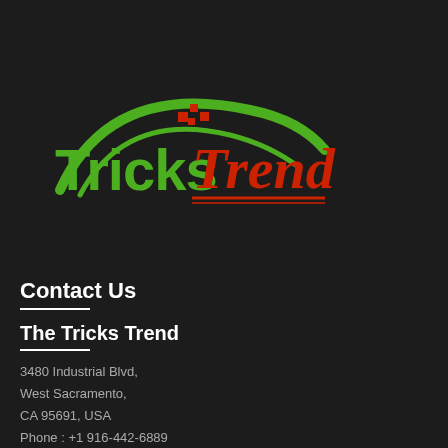[Figure (logo): TricksTrend logo with green arched swoosh, green bold text 'Tricks' and red cursive text 'Trend' with red underline, small red squares as decorative elements]
Contact Us
The Tricks Trend
3480 Industrial Blvd,
West Sacramento,
CA 95691, USA
Phone : +1 916-442-6889
Email: drupnar [@] gmail [.] com